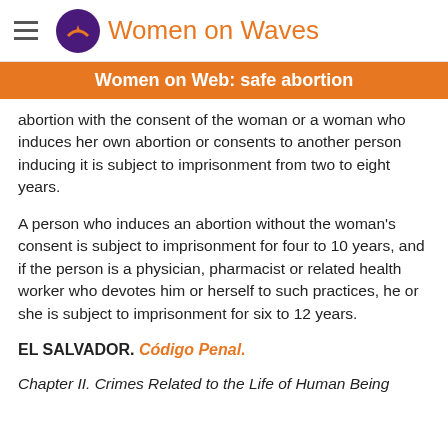Women on Waves
Women on Web: safe abortion
abortion with the consent of the woman or a woman who induces her own abortion or consents to another person inducing it is subject to imprisonment from two to eight years.
A person who induces an abortion without the woman's consent is subject to imprisonment for four to 10 years, and if the person is a physician, pharmacist or related health worker who devotes him or herself to such practices, he or she is subject to imprisonment for six to 12 years.
EL SALVADOR. Código Penal.
Chapter II. Crimes Related to the Life of Human Being